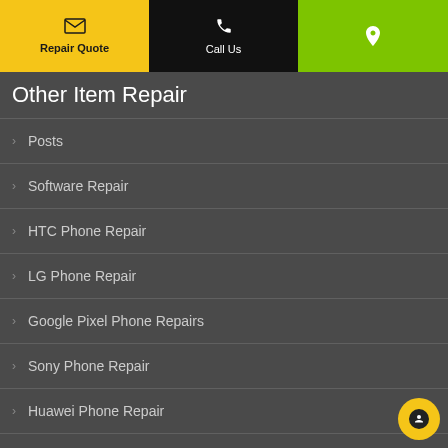Repair Quote | Call Us | Location
Other Item Repair
Posts
Software Repair
HTC Phone Repair
LG Phone Repair
Google Pixel Phone Repairs
Sony Phone Repair
Huawei Phone Repair
OnePlus Phone Repair
Unlock Mobile